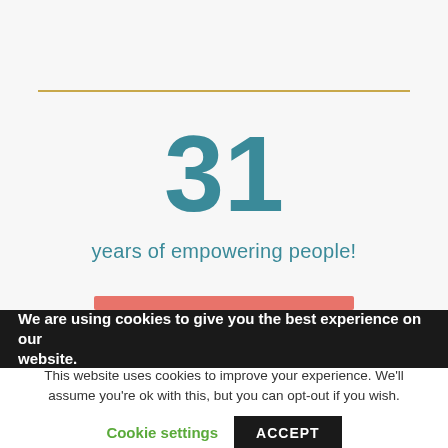31
years of empowering people!
We are using cookies to give you the best experience on our website.
This website uses cookies to improve your experience. We'll assume you're ok with this, but you can opt-out if you wish.
Cookie settings   ACCEPT